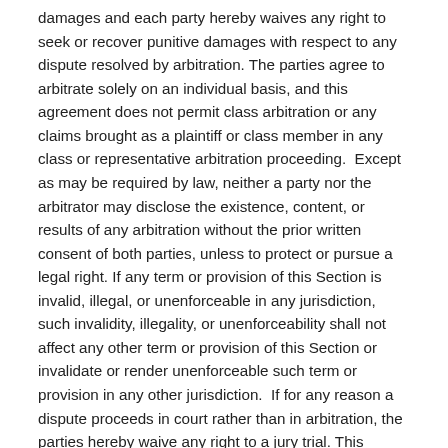damages and each party hereby waives any right to seek or recover punitive damages with respect to any dispute resolved by arbitration. The parties agree to arbitrate solely on an individual basis, and this agreement does not permit class arbitration or any claims brought as a plaintiff or class member in any class or representative arbitration proceeding.  Except as may be required by law, neither a party nor the arbitrator may disclose the existence, content, or results of any arbitration without the prior written consent of both parties, unless to protect or pursue a legal right. If any term or provision of this Section is invalid, illegal, or unenforceable in any jurisdiction, such invalidity, illegality, or unenforceability shall not affect any other term or provision of this Section or invalidate or render unenforceable such term or provision in any other jurisdiction.  If for any reason a dispute proceeds in court rather than in arbitration, the parties hereby waive any right to a jury trial. This arbitration provision shall survive any cancellation or termination of your agreement to participate in any of our Programs.
Miscellaneous: You warrant and represent to Us that you have